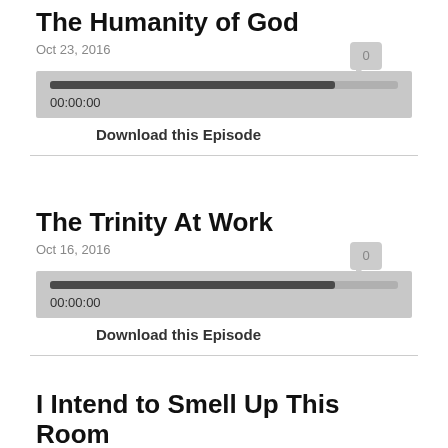The Humanity of God
Oct 23, 2016
[Figure (screenshot): Audio player with progress bar at ~82% and time display 00:00:00]
Download this Episode
The Trinity At Work
Oct 16, 2016
[Figure (screenshot): Audio player with progress bar at ~82% and time display 00:00:00]
Download this Episode
I Intend to Smell Up This Room
Oct 9, 2016